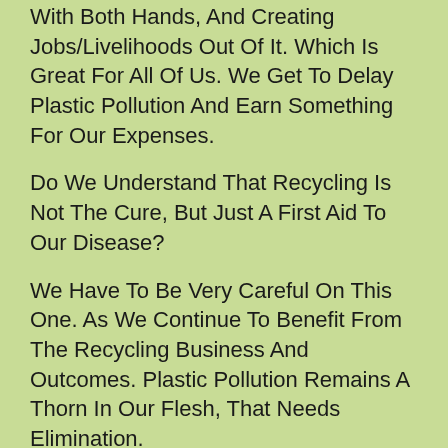With Both Hands, And Creating Jobs/Livelihoods Out Of It. Which Is Great For All Of Us. We Get To Delay Plastic Pollution And Earn Something For Our Expenses.
Do We Understand That Recycling Is Not The Cure, But Just A First Aid To Our Disease?
We Have To Be Very Careful On This One. As We Continue To Benefit From The Recycling Business And Outcomes. Plastic Pollution Remains A Thorn In Our Flesh, That Needs Elimination.
We Need To Understand That We Need To Completely Eliminate Plastic, And Have Sustainable Alternatives.
Conclusion
Let's Remember That We Had Eco-Friendly Options